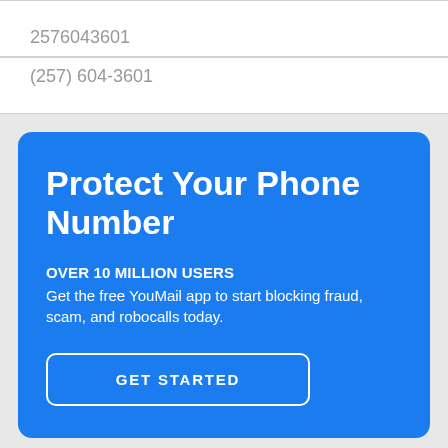2576043601
(257) 604-3601
Protect Your Phone Number
OVER 10 MILLION USERS
Get the free YouMail app to start blocking fraud, scam, and robocalls today.
GET STARTED